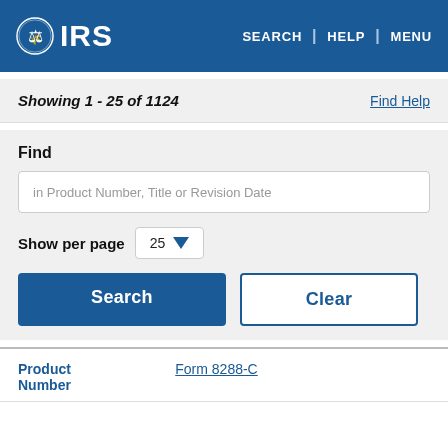IRS | SEARCH | HELP | MENU
Showing 1 - 25 of 1124
Find Help
Find
in Product Number, Title or Revision Date
Show per page  25
Search
Clear
| Product Number |  |
| --- | --- |
| Product Number | Form 8288-C |